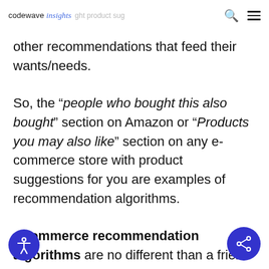codewave insights
other recommendations that feed their wants/needs.
So, the “people who bought this also bought” section on Amazon or “Products you may also like” section on any e-commerce store with product suggestions for you are examples of recommendation algorithms.
eCommerce recommendation algorithms are no different than a friend recommending a movie to another friend,